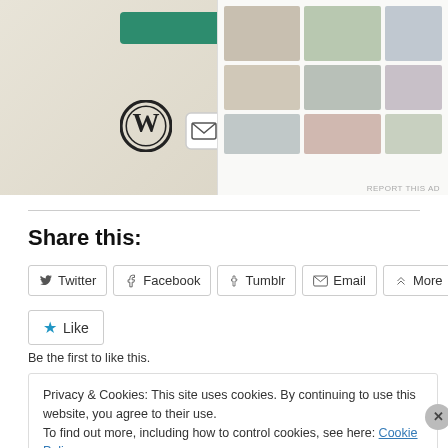[Figure (screenshot): Advertisement screenshot showing a WordPress logo, green button, and food menu UI mockup on a beige background, with 'REPORT THIS AD' text in bottom right]
Share this:
Twitter
Facebook
Tumblr
Email
More
Like
Be the first to like this.
Privacy & Cookies: This site uses cookies. By continuing to use this website, you agree to their use.
To find out more, including how to control cookies, see here: Cookie Policy
Close and accept